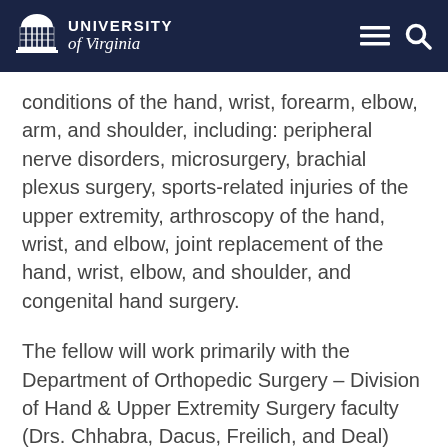University of Virginia
conditions of the hand, wrist, forearm, elbow, arm, and shoulder, including: peripheral nerve disorders, microsurgery, brachial plexus surgery, sports-related injuries of the upper extremity, arthroscopy of the hand, wrist, and elbow, joint replacement of the hand, wrist, elbow, and shoulder, and congenital hand surgery.
The fellow will work primarily with the Department of Orthopedic Surgery – Division of Hand & Upper Extremity Surgery faculty (Drs. Chhabra, Dacus, Freilich, and Deal) and the Department of Plastic Surgery – Division of Hand & Upper Extremity Surgery faculty (Drs. DeGeorge and Behar) on a